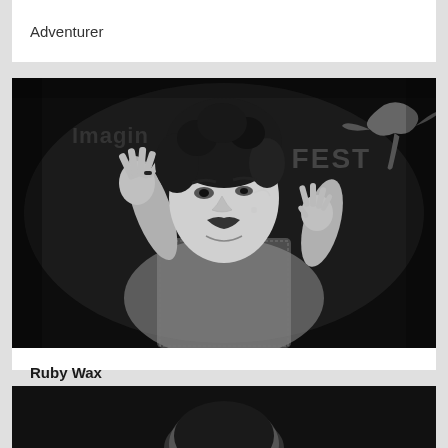Adventurer
[Figure (photo): Black and white photo of Ruby Wax on stage at a festival (visible text 'AY FEST' in background), raising both hands expressively, wearing a headset microphone, with a decorative bird silhouette in the upper right background.]
Ruby Wax
Speaker, Awards Host & Campaigner
[Figure (photo): Partial black and white photo at bottom of page showing the top of a person's head.]